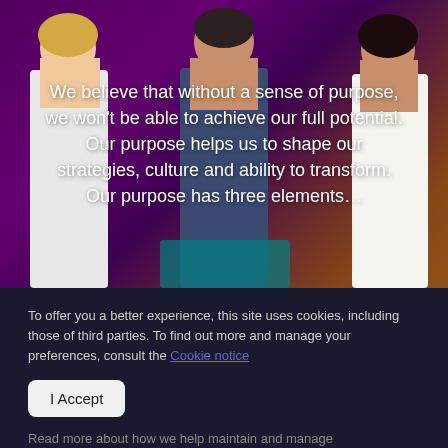[Figure (photo): Three smiling people (two women on sides, one man in center) standing against a purple/magenta and orange/yellow background]
We believe that without a sense of purpose, we won't be able to achieve our full potential. Our purpose helps us to shape our strategies, culture and ability to transform. Our purpose has three elements…
To offer you a better experience, this site uses cookies, including those of third parties. To find out more and manage your preferences, consult the Cookie notice
I Accept
Read more about how we help maintain and manage